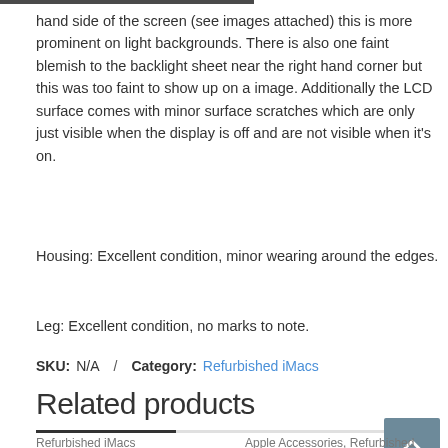hand side of the screen (see images attached) this is more prominent on light backgrounds. There is also one faint blemish to the backlight sheet near the right hand corner but this was too faint to show up on a image. Additionally the LCD surface comes with minor surface scratches which are only just visible when the display is off and are not visible when it's on.
Housing: Excellent condition, minor wearing around the edges.
Leg: Excellent condition, no marks to note.
SKU: N/A  /  Category: Refurbished iMacs
Related products
Refurbished iMacs
iMac 21.5″ A1418 Late 2013 i5, 8GB RAM, 256GB SSD Grade B
Apple Accessories, Refurbished
TotalCare